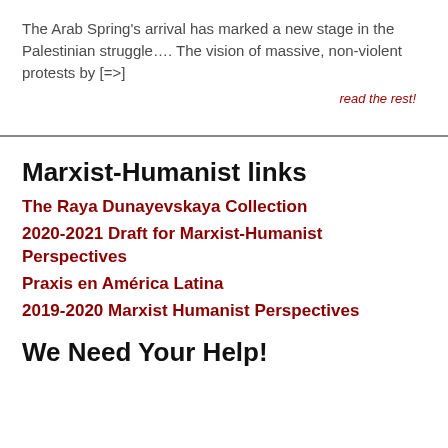The Arab Spring's arrival has marked a new stage in the Palestinian struggle…. The vision of massive, non-violent protests by [=>]
read the rest!
Marxist-Humanist links
The Raya Dunayevskaya Collection
2020-2021 Draft for Marxist-Humanist Perspectives
Praxis en América Latina
2019-2020 Marxist Humanist Perspectives
We Need Your Help!